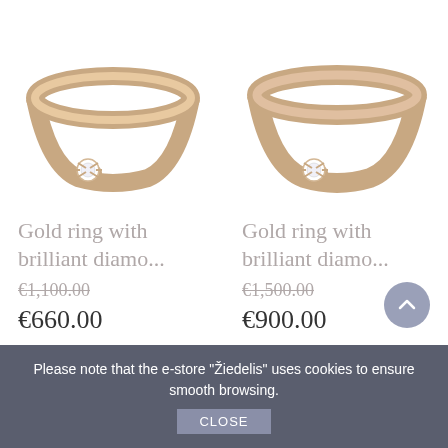[Figure (photo): Gold solitaire ring with brilliant diamond stone on white background, left product]
Gold ring with brilliant diamo...
€1,100.00 (strikethrough)
€660.00
[Figure (photo): Gold solitaire ring with brilliant diamond stone on white background, right product]
Gold ring with brilliant diamo...
€1,500.00 (strikethrough)
€900.00
Please note that the e-store "Žiedelis" uses cookies to ensure smooth browsing.
CLOSE